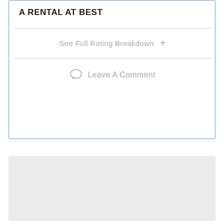A RENTAL AT BEST
See Full Rating Breakdown +
Leave A Comment
[Figure (other): Gray placeholder advertisement box]